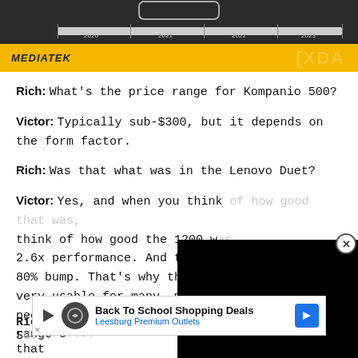[Figure (screenshot): Top portion of a MediaTek presentation slide showing a timeline with years 2020, 2021, 2022, 2023 and MediaTek logo on a yellow bar, with XDA watermark overlay]
Rich: What's the price range for Kompanio 500?
Victor: Typically sub-$300, but it depends on the form factor.
Rich: Was that what was in the Lenovo Duet?
Victor: Yes, and when you think of how good that was, think of how good the 1200 w[as]... 2.6x performance. And then 82[00 had an] 80% bump. That's why that 12[00 is still] very usable for many, many peo[ple. For] people that need more, but in g[eneral the] range o[f...]
Rich: S[o...]  [...]y that